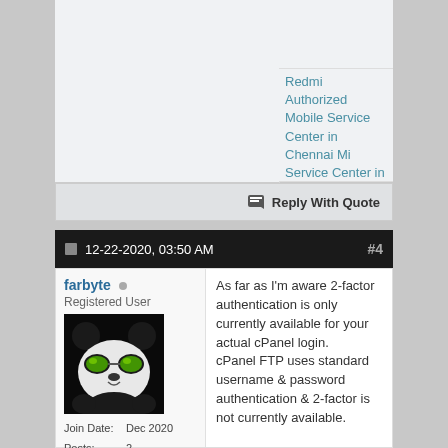[Figure (other): Top-left empty forum post area, light gray background]
Redmi Authorized Mobile Service Center in Chennai Mi Service Center in Chennai
Reply With Quote
12-22-2020, 03:50 AM  #4
farbyte
Registered User
[Figure (photo): Avatar image of a panda wearing green reflective aviator sunglasses on a black background]
Join Date:   Dec 2020
Posts:   2
As far as I'm aware 2-factor authentication is only currently available for your actual cPanel login.
cPanel FTP uses standard username & password authentication & 2-factor is not currently available.